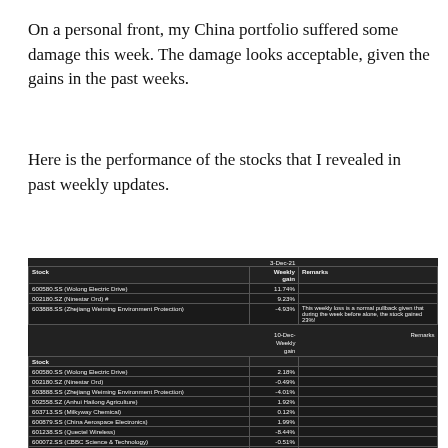On a personal front, my China portfolio suffered some damage this week. The damage looks acceptable, given the gains in the past weeks.
Here is the performance of the stocks that I revealed in past weekly updates.
| Stock | Weekly gain | Remarks |
| --- | --- | --- |
| 600580.SS (Wolong Electric Drive) | 11.74% |  |
| 002180.SZ (Ninestar Ord) # | 9.23% |  |
| 603888.SS (Zhejiang Weiming Environment Protection) | -4.93% | This weekly loss is a normal pullback given that during the week before alone, the stock gained 23%! |
| Stock | Weekly gain | Remarks |
| --- | --- | --- |
| 600580.SS (Wolong Electric Drive) | 2.18% |  |
| 002180.SZ (Ninestar Ord) | -0.49% |  |
| 603888.SS (Zhejiang Weiming Environment Protection) | -4.01% |  |
| 002558.SZ (Anhui Hailong Agriculture) | 1.92% |  |
| 603713.SS (Milkyway Chemical) | 0.12% |  |
| 600879.SS (China Aerospace Electronics) | 1.99% |  |
| 601238.SS (Quectel Wireless) | -8.44% |  |
| 600072.SS (CBBC Science & Technology) | -0.51% |  |
| 000568.SZ (Luzhou Laojiao) | -0.05% |  |
| 600745.SS (Wingtech Technology) | 1.08% |  |
| 600764.SS (China Marine Information Electronics) | 10.33% |  |
| 600378.SS (Haohua Chemical) | -1.94% |  |